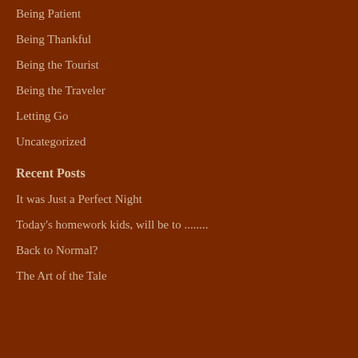Being Patient
Being Thankful
Being the Tourist
Being the Traveler
Letting Go
Uncategorized
Recent Posts
It was Just a Perfect Night
Today's homework kids, will be to ........
Back to Normal?
The Art of the Tale